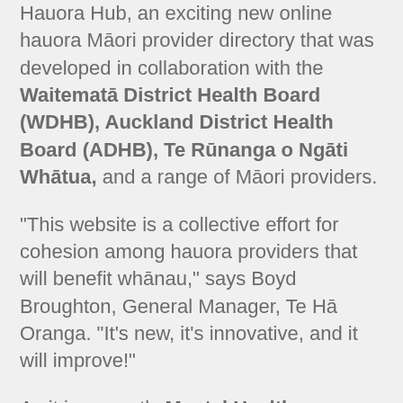Hauora Hub, an exciting new online hauora Māori provider directory that was developed in collaboration with the Waitematā District Health Board (WDHB), Auckland District Health Board (ADHB), Te Rūnanga o Ngāti Whātua, and a range of Māori providers.
"This website is a collective effort for cohesion among hauora providers that will benefit whānau," says Boyd Broughton, General Manager, Te Hā Oranga. "It's new, it's innovative, and it will improve!"
As it is currently Mental Health Awareness Week, Boyd also acknowledges that during raised alert